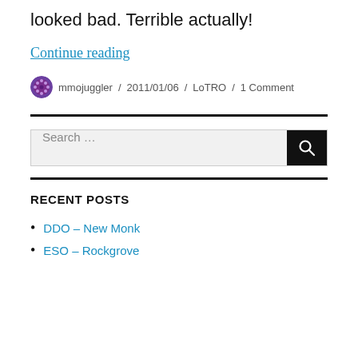looked bad. Terrible actually!
Continue reading
mmojuggler / 2011/01/06 / LoTRO / 1 Comment
RECENT POSTS
DDO – New Monk
ESO – Rockgrove